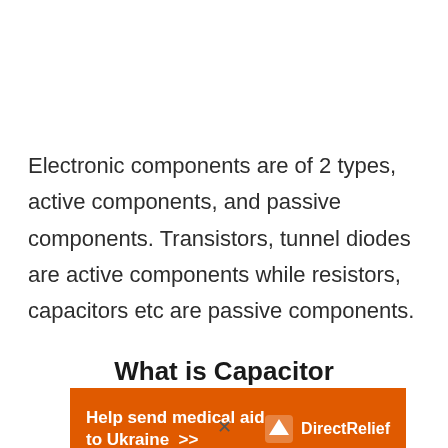Electronic components are of 2 types, active components, and passive components. Transistors, tunnel diodes are active components while resistors, capacitors etc are passive components.
What is Capacitor
[Figure (other): Advertisement banner: orange background with text 'Help send medical aid to Ukraine >>' and Direct Relief logo on the right]